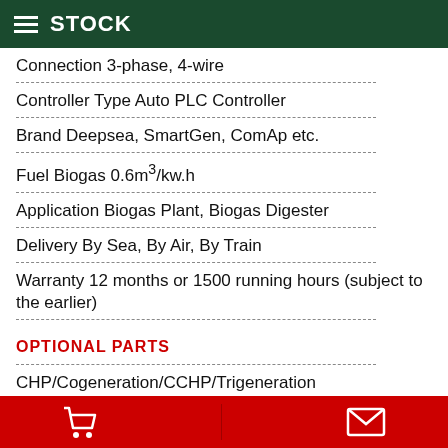STOCK
Connection 3-phase, 4-wire
Controller Type Auto PLC Controller
Brand Deepsea, SmartGen, ComAp etc.
Fuel Biogas 0.6m³/kw.h
Application Biogas Plant, Biogas Digester
Delivery By Sea, By Air, By Train
Warranty 12 months or 1500 running hours (subject to the earlier)
OPTIONAL PARTS
CHP/Cogeneration/CCHP/Trigeneration